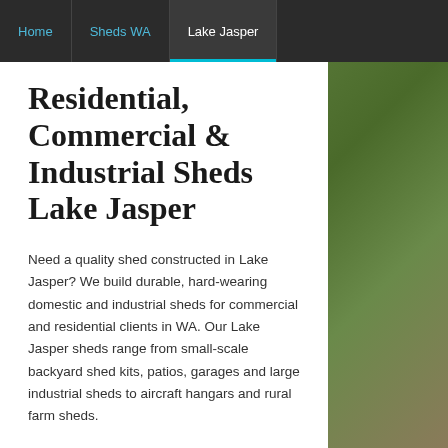Home | Sheds WA | Lake Jasper
Residential, Commercial & Industrial Sheds Lake Jasper
Need a quality shed constructed in Lake Jasper? We build durable, hard-wearing domestic and industrial sheds for commercial and residential clients in WA. Our Lake Jasper sheds range from small-scale backyard shed kits, patios, garages and large industrial sheds to aircraft hangars and rural farm sheds.
Why Choose Action Sheds?